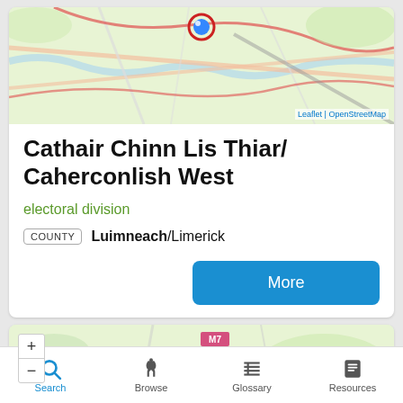[Figure (map): OpenStreetMap tile showing the area around Caherconlish West electoral division in County Limerick, Ireland. A blue location pin marker is visible. Attribution: Leaflet | OpenStreetMap.]
Cathair Chinn Lis Thiar/ Caherconlish West
electoral division
COUNTY  Luimneach/Limerick
More
[Figure (map): OpenStreetMap tile showing Limerick city and surrounding area, with motorway M7 visible. Zoom controls (+/-) are shown on the left side.]
Search  Browse  Glossary  Resources